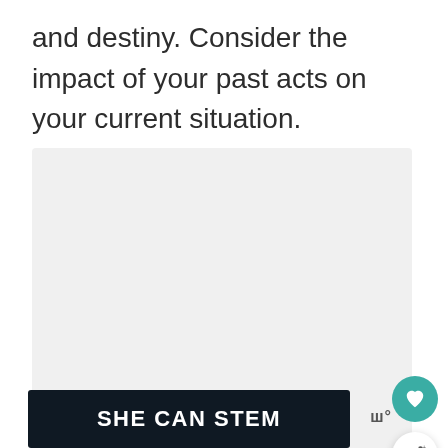and destiny. Consider the impact of your past acts on your current situation.
[Figure (other): Light gray placeholder image with three small gray dots centered near the bottom, indicating a loading or empty image carousel.]
[Figure (other): Dark navy banner image with bold white text reading 'SHE CAN STEM']
ww°